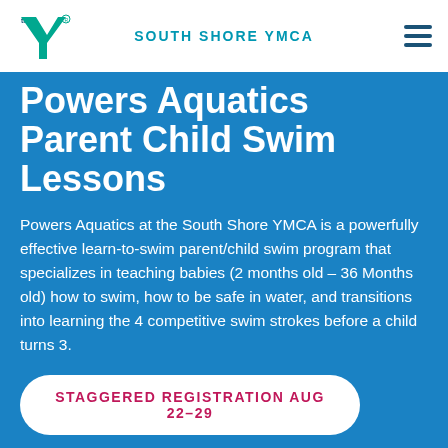SOUTH SHORE YMCA
Powers Aquatics Parent Child Swim Lessons
Powers Aquatics at the South Shore YMCA is a powerfully effective learn-to-swim parent/child swim program that specializes in teaching babies (2 months old – 36 Months old) how to swim, how to be safe in water, and transitions into learning the 4 competitive swim strokes before a child turns 3.
STAGGERED REGISTRATION AUG 22–29